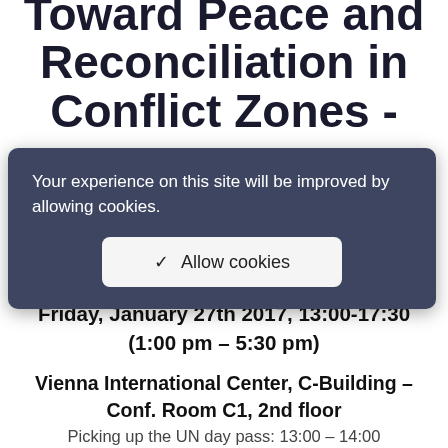Toward Peace and Reconciliation in Conflict Zones -
[Figure (screenshot): Cookie consent overlay with dark blue-grey background. Text reads: 'Your experience on this site will be improved by allowing cookies.' A button labeled '✓ Allow cookies' appears below.]
Friday, January 27th 2017, 13:00-17:30 (1:00 pm – 5:30 pm)
Vienna International Center, C-Building – Conf. Room C1, 2nd floor
Picking up the UN day pass: 13:00 – 14:00 (Gate 1)